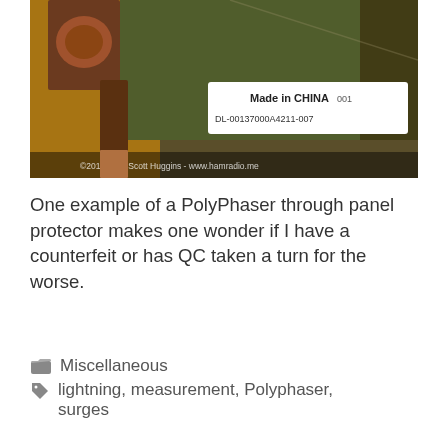[Figure (photo): Close-up photo of a PolyPhaser through panel protector device showing copper-colored components and a white label reading 'Made in CHINA' with a part number. Watermark reads '©2019 John Scott Huggins - www.hamradio.me']
One example of a PolyPhaser through panel protector makes one wonder if I have a counterfeit or has QC taken a turn for the worse.
Miscellaneous
lightning, measurement, Polyphaser, surges